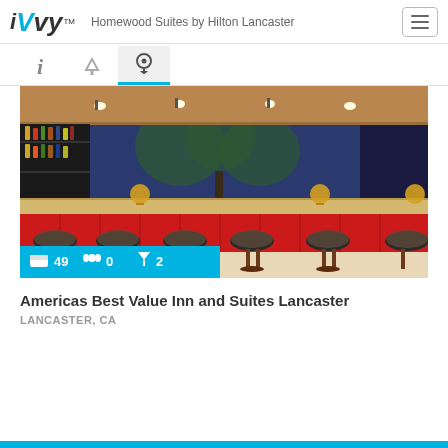iVvy — Homewood Suites by Hilton Lancaster
[Figure (screenshot): Navigation tab bar with info (i), filter (martini glass), and location pin icons; location pin tab is active with blue underline]
[Figure (photo): Interior photo of an upscale bar with red padded bar front, patterned bar stools, backlit shelves with liquor bottles, warm overhead lights, and a large window showing trees outside at night. Overlay badge shows: bed icon 49, group icon 0, cocktail icon 2]
Americas Best Value Inn and Suites Lancaster
LANCASTER, CA